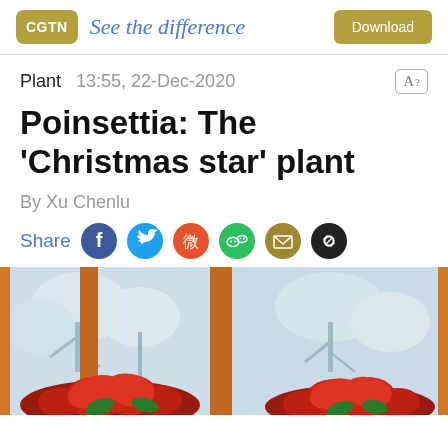CGTN | See the difference | Download
Plant  13:55, 22-Dec-2020
Poinsettia: The 'Christmas star' plant
By Xu Chenlu
Share [social icons: Facebook, Twitter, Weibo, WeChat, Email, Link]
[Figure (photo): Photo of red poinsettia plants on a windowsill with snow-covered trees visible outside through wooden-framed windows]